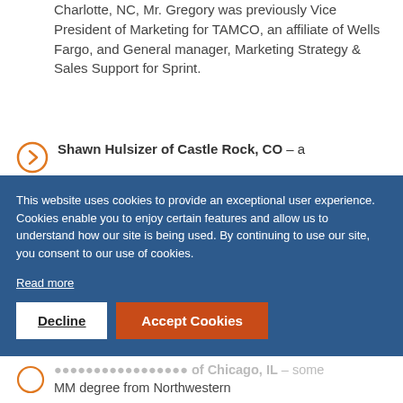Charlotte, NC, Mr. Gregory was previously Vice President of Marketing for TAMCO, an affiliate of Wells Fargo, and General manager, Marketing Strategy & Sales Support for Sprint.
Shawn Hulsizer of Castle Rock, CO – a
This website uses cookies to provide an exceptional user experience. Cookies enable you to enjoy certain features and allow us to understand how our site is being used. By continuing to use our site, you consent to our use of cookies.
Read more
Decline
Accept Cookies
MM degree from Northwestern